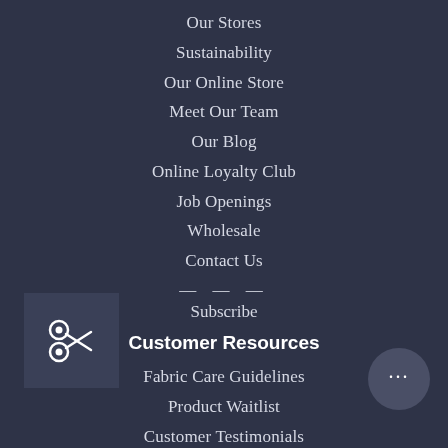Our Stores
Sustainability
Our Online Store
Meet Our Team
Our Blog
Online Loyalty Club
Job Openings
Wholesale
Contact Us
— — —
Subscribe
Customer Resources
Fabric Care Guidelines
Product Waitlist
Customer Testimonials
Our Community Guidelines
Anti-Racism Resources
[Figure (illustration): Scissors icon in a dark square box]
[Figure (illustration): Chat bubble icon with three dots]